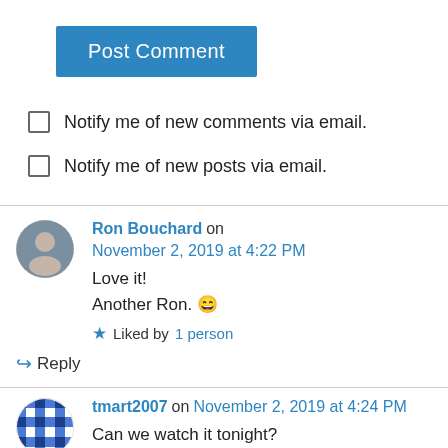[Figure (other): Post Comment blue button]
Notify me of new comments via email.
Notify me of new posts via email.
Ron Bouchard on November 2, 2019 at 4:22 PM
Love it!
Another Ron. 😄
★ Liked by 1 person
↪ Reply
tmart2007 on November 2, 2019 at 4:24 PM
Can we watch it tonight?